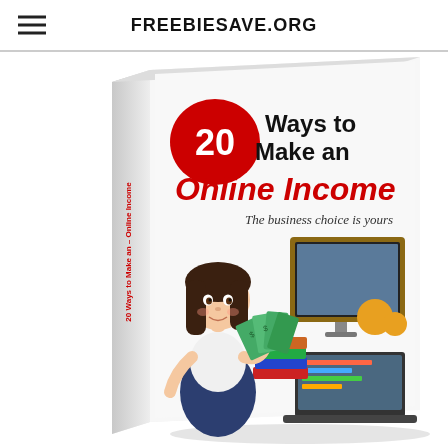FREEBIESAVE.ORG
[Figure (illustration): 3D book cover illustration titled '20 Ways to Make an Online Income - The business choice is yours'. The book cover features a red circle with '20' in white text, bold black text 'Ways to Make an Online Income', red italic text 'Online Income', subtitle 'The business choice is yours', and an illustrated cartoon woman with dark hair holding fan of money, with a computer monitor, stacked books, and laptop in the background. The book spine also shows the title text vertically.]